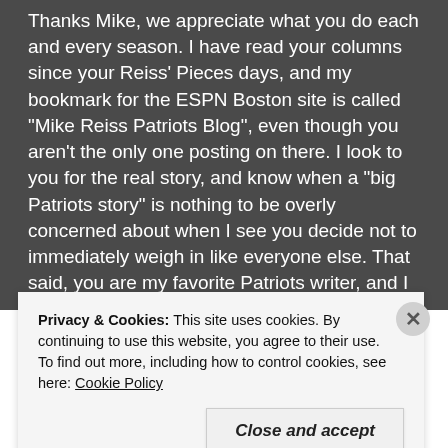Thanks Mike, we appreciate what you do each and every season. I have read your columns since your Reiss' Pieces days, and my bookmark for the ESPN Boston site is called “Mike Reiss Patriots Blog”, even though you aren’t the only one posting on there. I look to you for the real story, and know when a “big Patriots story” is nothing to be overly concerned about when I see you decide not to immediately weigh in like everyone else. That said, you are my favorite Patriots writer, and I am glad things are going well for
Privacy & Cookies: This site uses cookies. By continuing to use this website, you agree to their use.
To find out more, including how to control cookies, see here: Cookie Policy
Close and accept